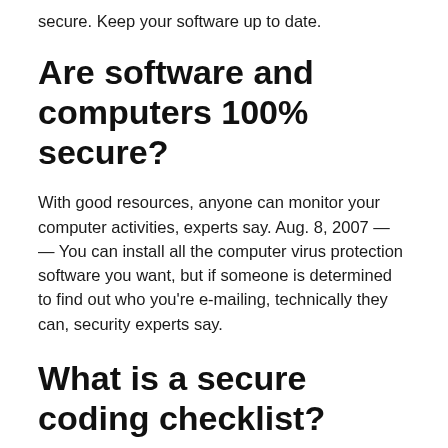secure. Keep your software up to date.
Are software and computers 100% secure?
With good resources, anyone can monitor your computer activities, experts say. Aug. 8, 2007 — — You can install all the computer virus protection software you want, but if someone is determined to find out who you're e-mailing, technically they can, security experts say.
What is a secure coding checklist?
The Secure Coding Practices Quick Reference